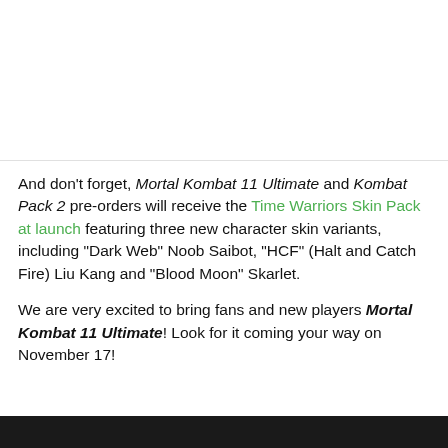[Figure (photo): Top white/blank area placeholder for image above the text]
And don’t forget, Mortal Kombat 11 Ultimate and Kombat Pack 2 pre-orders will receive the Time Warriors Skin Pack at launch featuring three new character skin variants, including “Dark Web” Noob Saibot, “HCF” (Halt and Catch Fire) Liu Kang and “Blood Moon” Skarlet.
We are very excited to bring fans and new players Mortal Kombat 11 Ultimate! Look for it coming your way on November 17!
[Figure (screenshot): Dark screenshot/image at the bottom of the page]